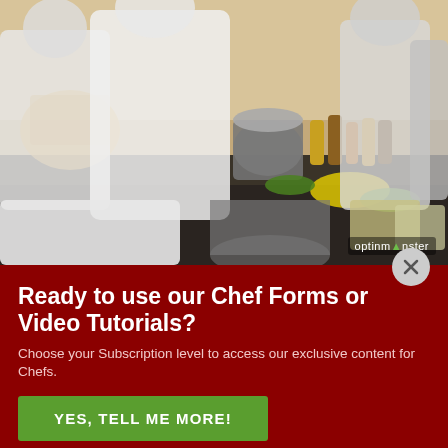[Figure (photo): Busy commercial kitchen with chefs in white uniforms working around a large counter filled with pots, bottles of sauces, and prepared ingredients. Blurred motion conveys activity. Kitchen equipment and tiled walls visible in background.]
Ready to use our Chef Forms or Video Tutorials?
Choose your Subscription level to access our exclusive content for Chefs.
YES, TELL ME MORE!